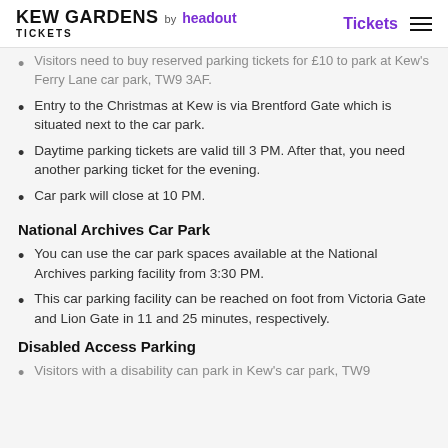KEW GARDENS TICKETS by headout | Tickets
Visitors need to buy reserved parking tickets for £10 to park at Kew's Ferry Lane car park, TW9 3AF.
Entry to the Christmas at Kew is via Brentford Gate which is situated next to the car park.
Daytime parking tickets are valid till 3 PM. After that, you need another parking ticket for the evening.
Car park will close at 10 PM.
National Archives Car Park
You can use the car park spaces available at the National Archives parking facility from 3:30 PM.
This car parking facility can be reached on foot from Victoria Gate and Lion Gate in 11 and 25 minutes, respectively.
Disabled Access Parking
Visitors with a disability can park in Kew's car park, TW9